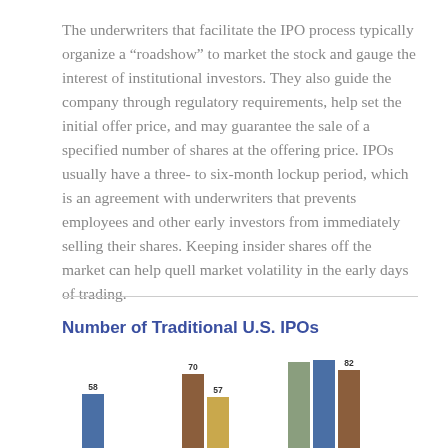The underwriters that facilitate the IPO process typically organize a “roadshow” to market the stock and gauge the interest of institutional investors. They also guide the company through regulatory requirements, help set the initial offer price, and may guarantee the sale of a specified number of shares at the offering price. IPOs usually have a three- to six-month lockup period, which is an agreement with underwriters that prevents employees and other early investors from immediately selling their shares. Keeping insider shares off the market can help quell market volatility in the early days of trading.
Number of Traditional U.S. IPOs
[Figure (bar-chart): Number of Traditional U.S. IPOs]